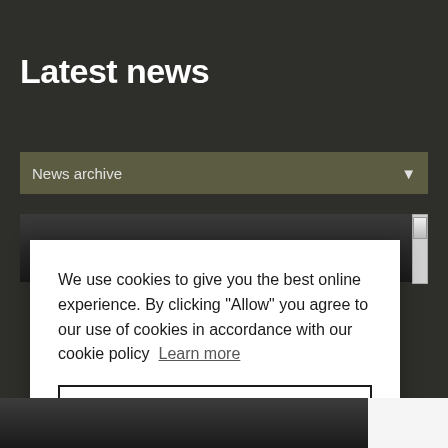Latest news
News archive
[Figure (screenshot): Dark photo strip area showing partial image]
We use cookies to give you the best online experience. By clicking "Allow" you agree to our use of cookies in accordance with our cookie policy  Learn more
Allow
[Figure (photo): Bottom dark photo strip]